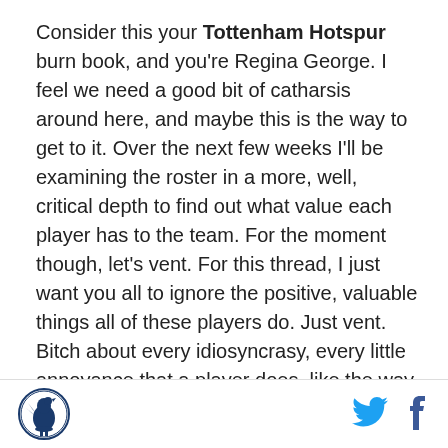Consider this your Tottenham Hotspur burn book, and you're Regina George. I feel we need a good bit of catharsis around here, and maybe this is the way to get to it. Over the next few weeks I'll be examining the roster in a more, well, critical depth to find out what value each player has to the team. For the moment though, let's vent. For this thread, I just want you all to ignore the positive, valuable things all of these players do. Just vent. Bitch about every idiosyncrasy, every little annoyance that a player does, like the way Bale continues to emulate CR7 by the day. This is your forum to get everything out so that, maybe, going forward we can be level headed for these last 4 games. So go ahead commentariat, let rip about which
[Figure (logo): Tottenham Hotspur circular crest logo in blue and white]